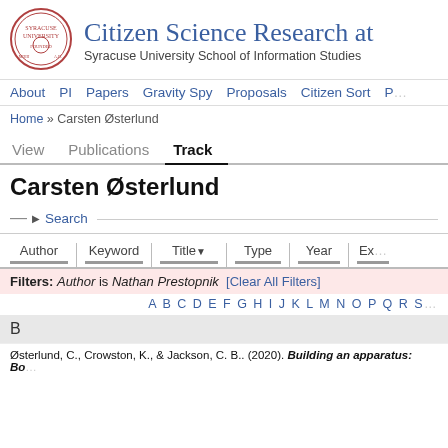Citizen Science Research at Syracuse University School of Information Studies
About | PI | Papers | Gravity Spy | Proposals | Citizen Sort | P...
Home » Carsten Østerlund
View | Publications | Track
Carsten Østerlund
— ▶ Search —
Author | Keyword | Title ▼ | Type | Year | Ex...
Filters: Author is Nathan Prestopnik  [Clear All Filters]
A B C D E F G H I J K L M N O P Q R S T...
B
Østerlund, C., Crowston, K., & Jackson, C. B.. (2020). Building an apparatus: Bo...